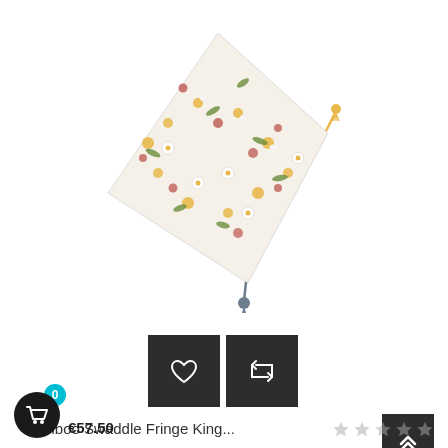[Figure (photo): A floral patterned bamboo swaddle blanket with fringe/tassel corners, displayed folded diagonally on a white background. The fabric features white, yellow, pink and red flowers with green leaves. Yellow tassel visible at top-right corner and dark gray tassel at bottom.]
[Figure (other): Two dark square action buttons side by side: a heart/wishlist icon button on the left and a share/retweet icon button on the right]
Bamboo Swaddle Fringe King...
[Figure (other): Dark back-to-top button with double chevron up arrow icon]
[Figure (other): Round dark cart/shopping button with badge showing 0]
€57.50
[Figure (other): Five grey star rating icons]